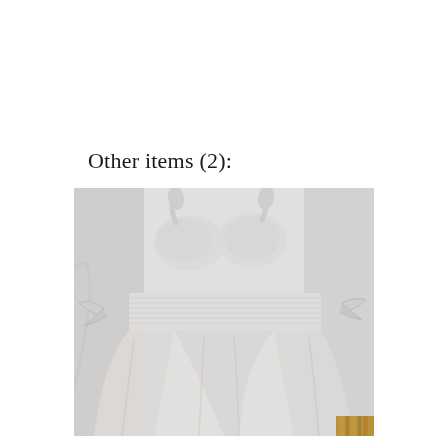Other items (2):
[Figure (photo): A white dress or garment with spaghetti straps, a smocked/shirred waistband, and a flowy skirt, laid flat on a white background. The garment has tie details at the sides and a small tan/wooden object visible at the bottom right corner.]